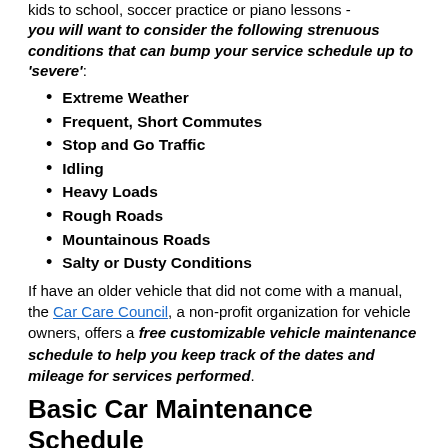kids to school, soccer practice or piano lessons - you will want to consider the following strenuous conditions that can bump your service schedule up to 'severe':
Extreme Weather
Frequent, Short Commutes
Stop and Go Traffic
Idling
Heavy Loads
Rough Roads
Mountainous Roads
Salty or Dusty Conditions
If have an older vehicle that did not come with a manual, the Car Care Council, a non-profit organization for vehicle owners, offers a free customizable vehicle maintenance schedule to help you keep track of the dates and mileage for services performed.
Basic Car Maintenance Schedule